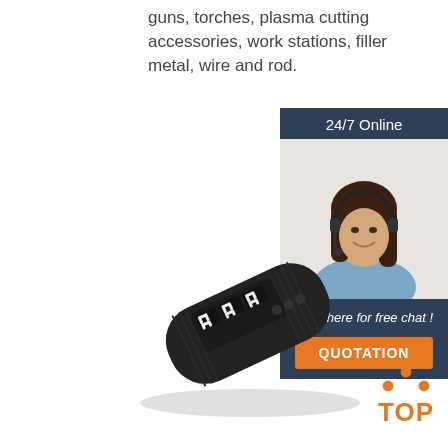guns, torches, plasma cutting accessories, work stations, filler metal, wire and rod.
Get Price
24/7 Online
[Figure (photo): Customer service woman with headset, smiling]
Click here for free chat !
QUOTATION
[Figure (photo): Black handheld electronic device with digital display]
[Figure (logo): TOP badge with orange triangle dots above orange TOP text]